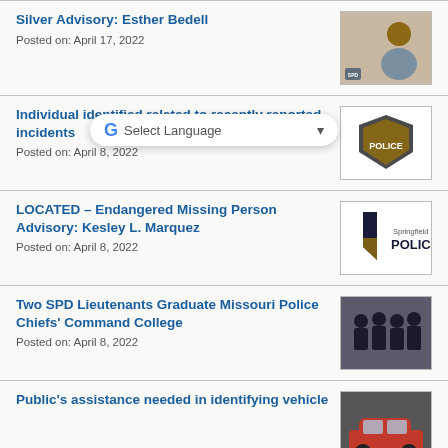Silver Advisory: Esther Bedell
Posted on: April 17, 2022
[Figure (photo): Photo of Esther Bedell, an elderly woman]
Individual identified related to recently reported incidents
Posted on: April 8, 2022
[Figure (screenshot): Google Translate Select Language widget overlaid on Springfield Police logo]
LOCATED – Endangered Missing Person Advisory: Kesley L. Marquez
Posted on: April 8, 2022
[Figure (logo): Springfield Police logo with shield and text]
Two SPD Lieutenants Graduate Missouri Police Chiefs' Command College
Posted on: April 8, 2022
[Figure (photo): Group photo of police officers in uniform]
Public's assistance needed in identifying vehicle
[Figure (photo): Photo of a red car]